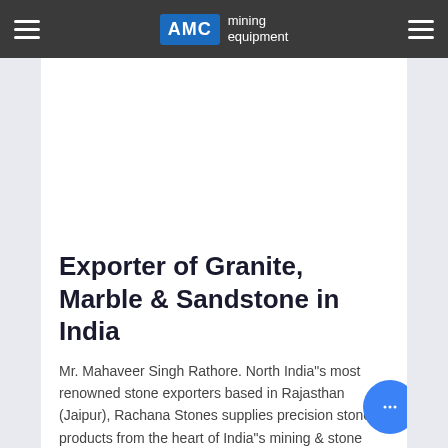AMC mining equipment
[Figure (other): Advertisement or image placeholder (white space)]
Exporter of Granite, Marble & Sandstone in India
Mr. Mahaveer Singh Rathore. North India"s most renowned stone exporters based in Rajasthan (Jaipur), Rachana Stones supplies precision stone products from the heart of India"s mining & stone